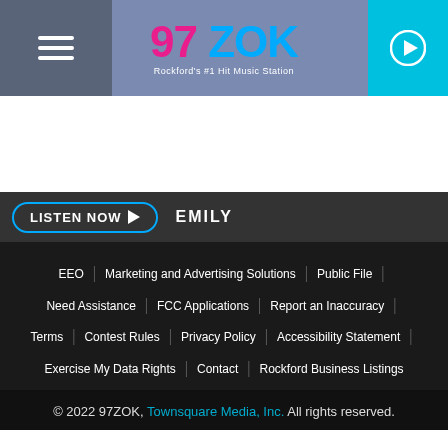[Figure (logo): 97 ZOK radio station logo with pink '97' and blue 'ZOK', tagline 'Rockford's #1 Hit Music Station']
LISTEN NOW ▶ EMILY
[Figure (infographic): Social media icons bar: app download, email, YouTube, Facebook, Twitter, Instagram]
EEO | Marketing and Advertising Solutions | Public File | Need Assistance | FCC Applications | Report an Inaccuracy | Terms | Contest Rules | Privacy Policy | Accessibility Statement | Exercise My Data Rights | Contact | Rockford Business Listings
© 2022 97ZOK, Townsquare Media, Inc. All rights reserved.